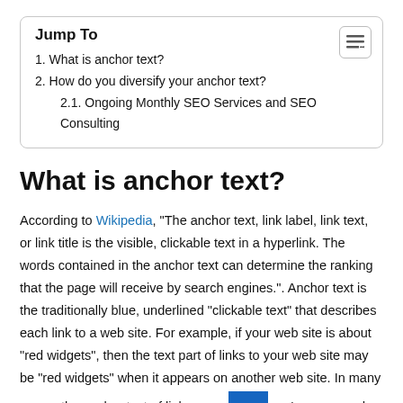Jump To
1. What is anchor text?
2. How do you diversify your anchor text?
2.1. Ongoing Monthly SEO Services and SEO Consulting
What is anchor text?
According to Wikipedia, “The anchor text, link label, link text, or link title is the visible, clickable text in a hyperlink. The words contained in the anchor text can determine the ranking that the page will receive by search engines.”. Anchor text is the traditionally blue, underlined “clickable text” that describes each link to a web site. For example, if your web site is about “red widgets”, then the text part of links to your web site may be “red widgets” when it appears on another web site. In many cases, the anchor text of links are a company’s name–and that is how they link to a company’s web site. You can run into search engine ranking problems if there is